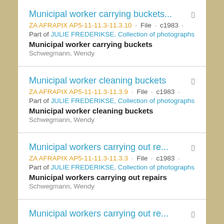Municipal worker carrying buckets...
ZA AFRAPIX AP5-11-11.3-11.3.10 · File · c1983 ·
Part of JULIE FREDERIKSE, Collection of photographs
Municipal worker carrying buckets
Schwegmann, Wendy
Municipal worker cleaning buckets
ZA AFRAPIX AP5-11-11.3-11.3.9 · File · c1983 ·
Part of JULIE FREDERIKSE, Collection of photographs
Municipal worker cleaning buckets
Schwegmann, Wendy
Municipal workers carrying out re...
ZA AFRAPIX AP5-11-11.3-11.3.3 · File · c1983 ·
Part of JULIE FREDERIKSE, Collection of photographs
Municipal workers carrying out repairs
Schwegmann, Wendy
Municipal workers carrying out re...